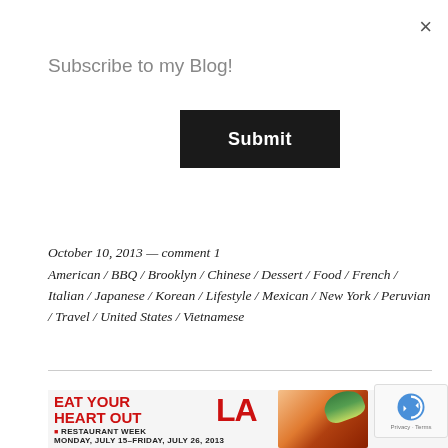×
Subscribe to my Blog!
Submit
October 10, 2013 — comment 1
American / BBQ / Brooklyn / Chinese / Dessert / Food / French / Italian / Japanese / Korean / Lifestyle / Mexican / New York / Peruvian / Travel / United States / Vietnamese
[Figure (infographic): EAT YOUR HEART OUT LA restaurant week advertisement with food photo, Monday July 15 – Friday July 26 2013]
[Figure (other): reCAPTCHA Privacy Terms badge]